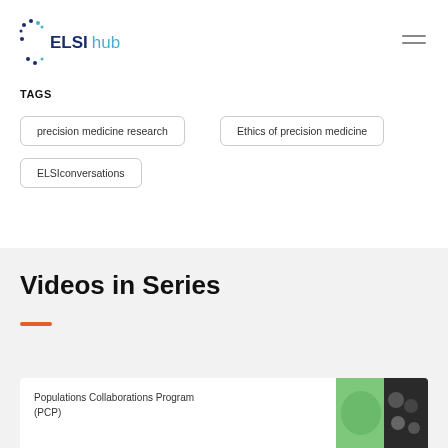ELSI hub
TAGS
precision medicine research
Ethics of precision medicine
ELSIconversations
Videos in Series
Populations Collaborations Program (PCP)